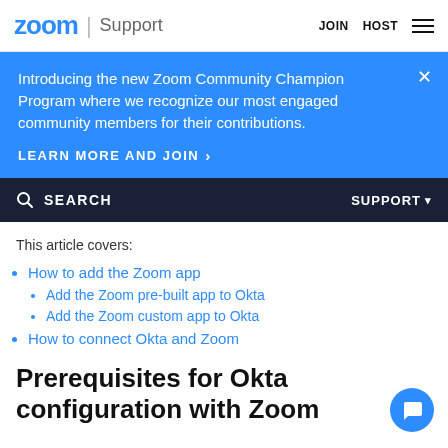zoom Support | JOIN HOST
Introducing the new Zoom Community Champion Program where we recognize our most engaged community members for their contributions.
LEARN MORE AND JOIN >
SEARCH  SUPPORT
This article covers:
How to add the Zoom app
Add the Zoom pre-built app to Okta
Add the Zoom custom app to Okta
How to connect Okta and Zoom
Prerequisites for Okta configuration with Zoom